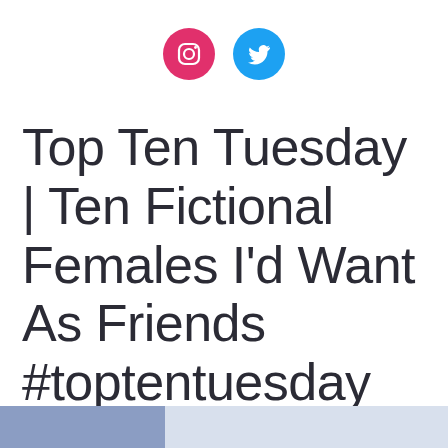[Figure (illustration): Two social media icons: Instagram (pink circle) and Twitter (blue circle)]
Top Ten Tuesday | Ten Fictional Females I'd Want As Friends #toptentuesday #iwd2019